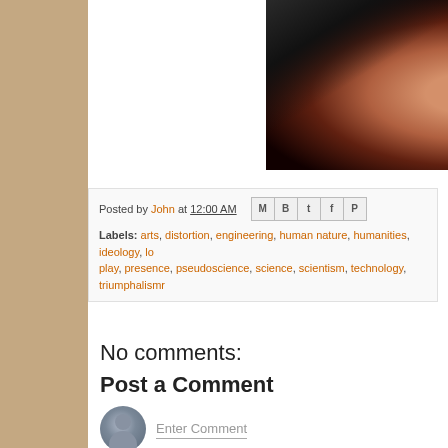[Figure (photo): Dark photo of a person wearing sunglasses, partially visible face on dark background with reddish tones]
Posted by John at 12:00 AM
Labels: arts, distortion, engineering, human nature, humanities, ideology, lo..., play, presence, pseudoscience, science, scientism, technology, triumphalismr...
No comments:
Post a Comment
Enter Comment